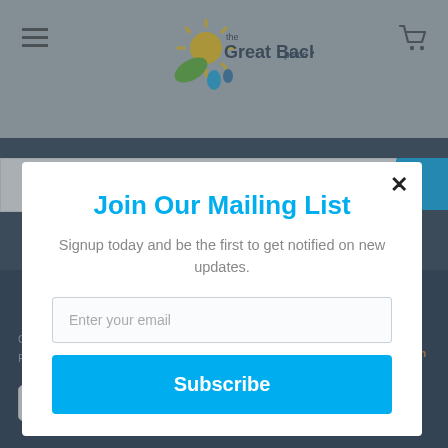the Great Backyard place
[Figure (screenshot): Modal popup with mailing list signup form over a website background showing navigation, search bar, dark footer with copyright and payment icons]
Join Our Mailing List
Signup today and be the first to get notified on new updates.
Enter your email
Subscribe
Copyright © 2022 Gr... Powered by Shopify
powered by MailMunch
AMEX   DISCOVER   Meta   Mastercard   VISA